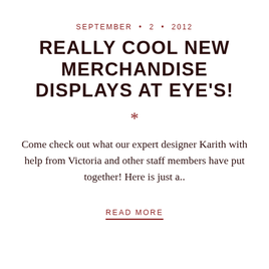SEPTEMBER · 2 · 2012
REALLY COOL NEW MERCHANDISE DISPLAYS AT EYE'S!
*
Come check out what our expert designer Karith with help from Victoria and other staff members have put together! Here is just a..
READ MORE